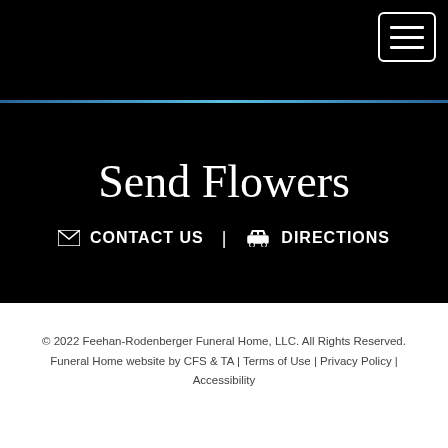[Figure (screenshot): Hamburger menu button (three horizontal lines) in a rounded rectangle border, white on black background, top-right corner]
Send Flowers
✉ CONTACT US  |  🚗 DIRECTIONS
© 2022 Feehan-Rodenberger Funeral Home, LLC. All Rights Reserved. Funeral Home website by CFS & TA | Terms of Use | Privacy Policy | Accessibility